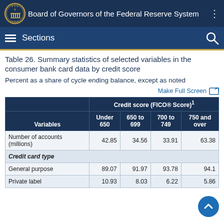Board of Governors of the Federal Reserve System
Sections
Table 26. Summary statistics of selected variables in the consumer bank card data by credit score
Percent as a share of cycle ending balance, except as noted
| Variables | Under 650 | 650 to 699 | 700 to 749 | 750 and over |
| --- | --- | --- | --- | --- |
| Number of accounts (millions) | 42.85 | 34.56 | 33.91 | 63.38 |
| Credit card type |  |  |  |  |
| General purpose | 89.07 | 91.97 | 93.78 | 94.1 |
| Private label | 10.93 | 8.03 | 6.22 | 5.86 |